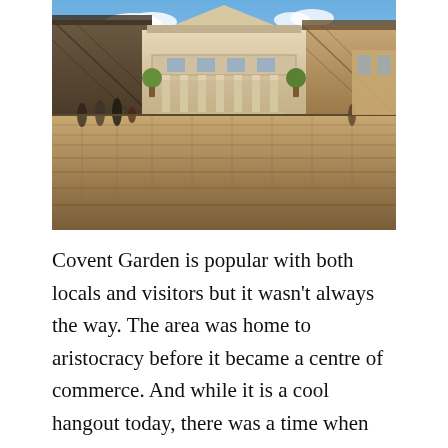[Figure (photo): Outdoor photo of Covent Garden piazza in London showing a neoclassical building with columns in the centre, iron-framed market structures on either side, blue sky above, and cobblestone ground in the foreground with people walking around.]
Covent Garden is popular with both locals and visitors but it wasn't always the way. The area was home to aristocracy before it became a centre of commerce. And while it is a cool hangout today, there was a time when you wouldn't want to stop here day or night. The elegant piazza and market with street cobbles and the...